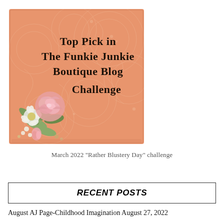[Figure (illustration): Badge image for 'Top Pick in The Funkie Junkie Boutique Blog Challenge' on a salmon/peach colored lace-patterned background with floral decoration (pink rose, white flowers, green leaves) in the lower left corner.]
March 2022 "Rather Blustery Day" challenge
RECENT POSTS
August AJ Page-Childhood Imagination August 27, 2022